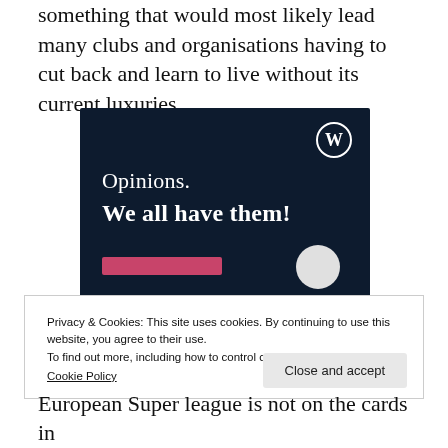something that would most likely lead many clubs and organisations having to cut back and learn to live without its current luxuries.
[Figure (advertisement): WordPress.com advertisement with dark navy background. WordPress circular logo in top right. Text reads 'Opinions.' and 'We all have them!' in white. Pink bar and grey circle at bottom.]
Privacy & Cookies: This site uses cookies. By continuing to use this website, you agree to their use.
To find out more, including how to control cookies, see here:
Cookie Policy
European Super league is not on the cards in